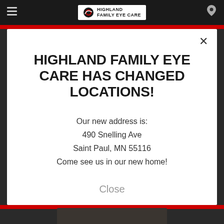[Figure (screenshot): Highland Family Eye Care website navigation bar with hamburger menu, logo, and location pin icon, with red stripe below]
HIGHLAND FAMILY EYE CARE HAS CHANGED LOCATIONS!
Our new address is:
490 Snelling Ave
Saint Paul, MN 55116
Come see us in our new home!
Close